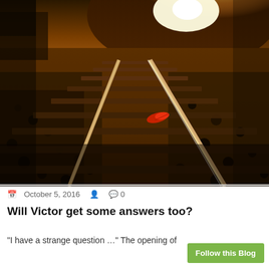[Figure (photo): Railway tracks receding into a bright horizon at golden hour, with a red leaf on the rail in the foreground, gravel and wooden sleepers visible, warm amber lighting]
October 5, 2016   0
Will Victor get some answers too?
"I have a strange question ..." The opening of
Follow this Blog